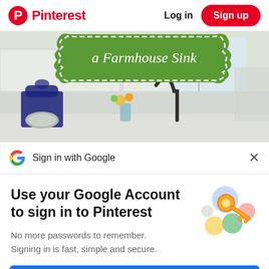Pinterest  Log in  Sign up
[Figure (photo): Kitchen photo showing farmhouse sink area with a green banner overlay reading 'a Farmhouse Sink', a blue KitchenAid stand mixer, flowers in a vase, and white cabinets]
Sign in with Google
Use your Google Account to sign in to Pinterest
No more passwords to remember. Signing in is fast, simple and secure.
[Figure (illustration): Google illustration with colorful circles and a golden key icon representing Google Account sign-in]
Continue